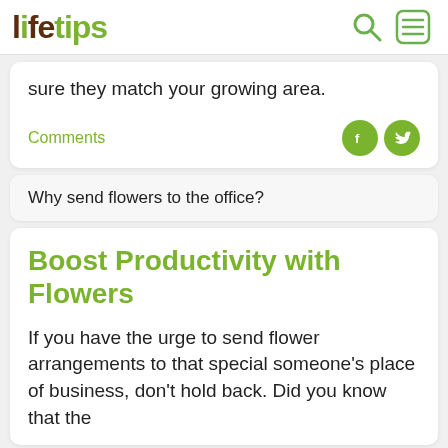lifetips
sure they match your growing area.
Comments
Why send flowers to the office?
Boost Productivity with Flowers
If you have the urge to send flower arrangements to that special someone's place of business, don't hold back. Did you know that the